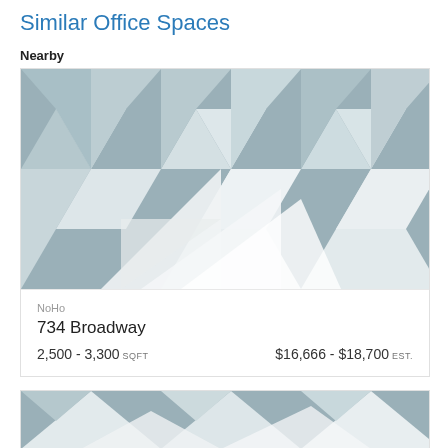Similar Office Spaces
Nearby
[Figure (photo): Placeholder image of geometric building shapes in gray and white tones for 734 Broadway office listing]
NoHo
734 Broadway
2,500 - 3,300 SQFT   $16,666 - $18,700 EST.
[Figure (photo): Partial placeholder image of geometric building shapes in gray and white tones for second office listing]